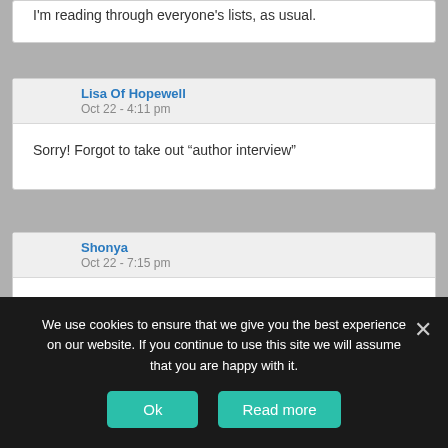I'm reading through everyone's lists, as usual.
Lisa Of Hopewell
Oct 22 - 4:11 pm
Sorry! Forgot to take out “author interview”
Shonya
Oct 22 - 7:15 pm
I’m promising myself to make time for more reading in the upcoming month than I have the past couple months–even if I have to give up sleep to do so! 🙂
We use cookies to ensure that we give you the best experience on our website. If you continue to use this site we will assume that you are happy with it.